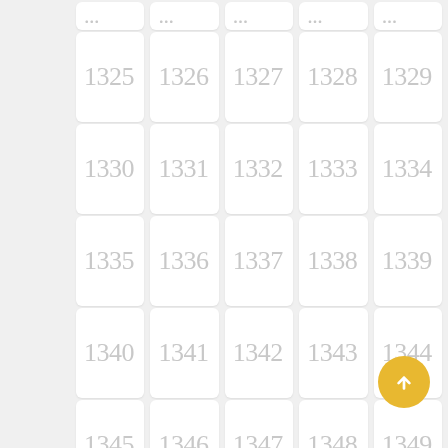[Figure (other): Grid of numbered cells from 1320-1374 (partial rows at top and bottom), arranged in 5 columns with numbers increasing left to right, top to bottom. A gold circular back-to-top button appears in the lower right.]